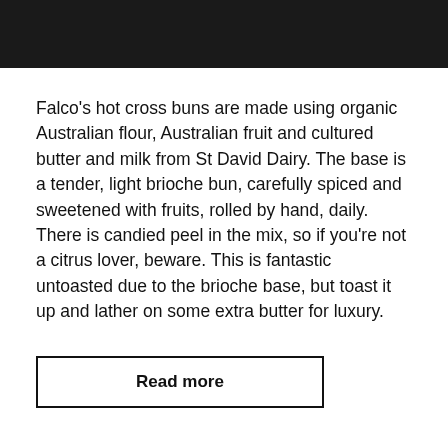Falco's hot cross buns are made using organic Australian flour, Australian fruit and cultured butter and milk from St David Dairy. The base is a tender, light brioche bun, carefully spiced and sweetened with fruits, rolled by hand, daily. There is candied peel in the mix, so if you're not a citrus lover, beware. This is fantastic untoasted due to the brioche base, but toast it up and lather on some extra butter for luxury.
Read more